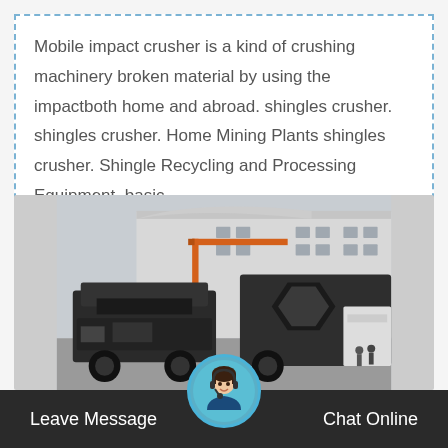Mobile impact crusher is a kind of crushing machinery broken material by using the impactboth home and abroad. shingles crusher. shingles crusher. Home Mining Plants shingles crusher. Shingle Recycling and Processing Equipment, basic…
[Figure (photo): A mobile impact crusher machine photographed outdoors in front of a large industrial building. The machine is dark/black in color with an orange crane arm visible behind it. The background shows a white factory building with windows.]